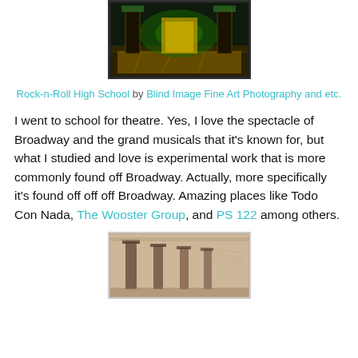[Figure (photo): A theatrical stage scene with green/gold lighting, showing a dark stage set with architectural elements, displayed in a framed/bordered photo format]
Rock-n-Roll High School by Blind Image Fine Art Photography and etc.
I went to school for theatre. Yes, I love the spectacle of Broadway and the grand musicals that it's known for, but what I studied and love is experimental work that is more commonly found off Broadway. Actually, more specifically it's found off off off Broadway. Amazing places like Todo Con Nada, The Wooster Group, and PS 122 among others.
[Figure (photo): A sepia/vintage-toned photograph showing architectural columns or pillars of what appears to be an old theatre or building exterior]